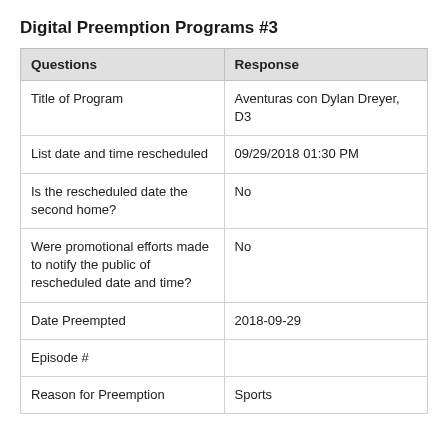Digital Preemption Programs #3
| Questions | Response |
| --- | --- |
| Title of Program | Aventuras con Dylan Dreyer, D3 |
| List date and time rescheduled | 09/29/2018 01:30 PM |
| Is the rescheduled date the second home? | No |
| Were promotional efforts made to notify the public of rescheduled date and time? | No |
| Date Preempted | 2018-09-29 |
| Episode # |  |
| Reason for Preemption | Sports |